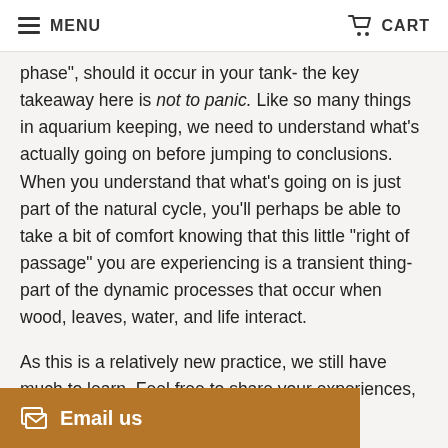MENU   CART
phase", should it occur in your tank- the key takeaway here is not to panic. Like so many things in aquarium keeping, we need to understand what's actually going on before jumping to conclusions. When you understand that what's going on is just part of the natural cycle, you'll perhaps be able to take a bit of comfort knowing that this little "right of passage" you are experiencing is a transient thing- part of the dynamic processes that occur when wood, leaves, water, and life interact.
As this is a relatively new practice, we still have much to learn. Feel free to share your experiences, theories, and observations, so [all can benefit]!